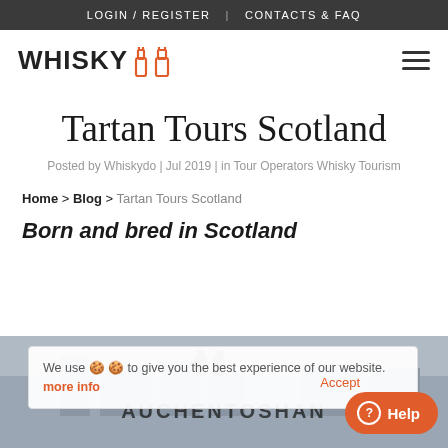LOGIN / REGISTER  |  CONTACTS & FAQ
[Figure (logo): Whiskydo logo with text WHISKY and two bottle icons in orange on the right]
Tartan Tours Scotland
Posted by Whiskydo | Jul 2019 | in Tour Operators Whisky Tourism
Home > Blog > Tartan Tours Scotland
Born and bred in Scotland
We use 🍪 to give you the best experience of our website. more info
Accept
[Figure (photo): Auchentoshan distillery image at the bottom of the page with logo and text AUCHENTOSHAN]